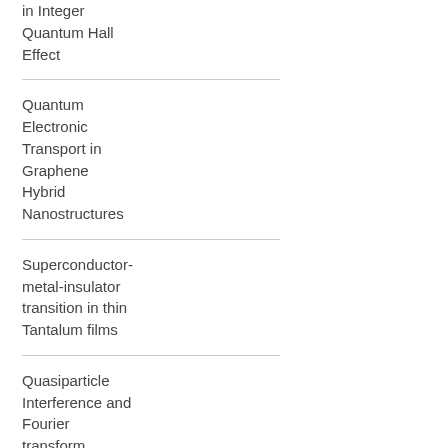in Integer Quantum Hall Effect
Quantum Electronic Transport in Graphene Hybrid Nanostructures
Superconductor-metal-insulator transition in thin Tantalum films
Quasiparticle Interference and Fourier transform scanning tunneling spectroscopy in WTe2 (Weyl semimetal)
Topological